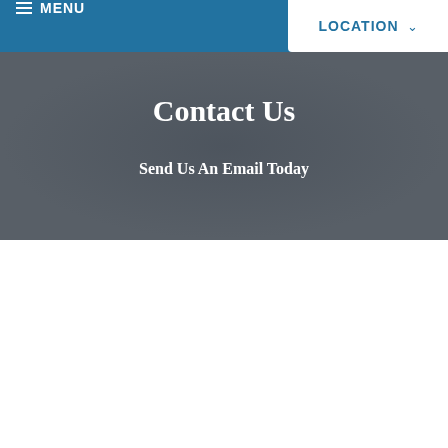MENU
LOCATION
Contact Us
Send Us An Email Today